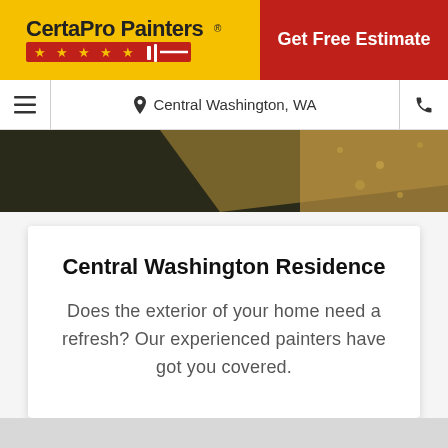[Figure (logo): CertaPro Painters logo on yellow background with stars and brush symbol]
Get Free Estimate
≡  Central Washington, WA  📞
[Figure (photo): Partial view of a residence exterior with dark shadows and golden brown gravel/landscaping]
Central Washington Residence
Does the exterior of your home need a refresh? Our experienced painters have got you covered.